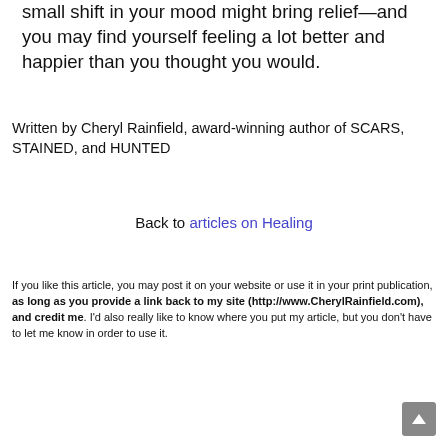small shift in your mood might bring relief—and you may find yourself feeling a lot better and happier than you thought you would.
Written by Cheryl Rainfield, award-winning author of SCARS, STAINED, and HUNTED
Back to articles on Healing
If you like this article, you may post it on your website or use it in your print publication, as long as you provide a link back to my site (http://www.CherylRainfield.com), and credit me. I'd also really like to know where you put my article, but you don't have to let me know in order to use it.